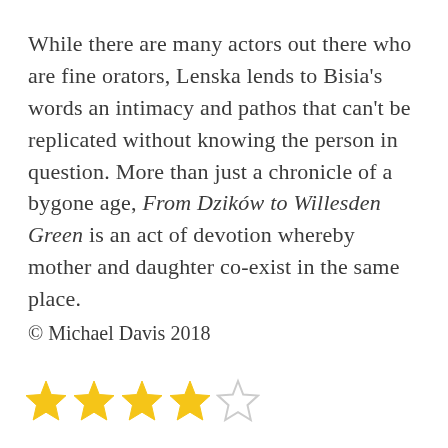While there are many actors out there who are fine orators, Lenska lends to Bisia's words an intimacy and pathos that can't be replicated without knowing the person in question. More than just a chronicle of a bygone age, From Dzików to Willesden Green is an act of devotion whereby mother and daughter co-exist in the same place.
© Michael Davis 2018
[Figure (other): Star rating: 4 out of 5 stars (4 filled gold stars and 1 empty/outline star)]